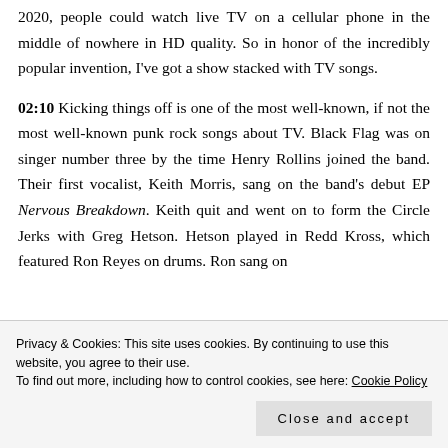2020, people could watch live TV on a cellular phone in the middle of nowhere in HD quality. So in honor of the incredibly popular invention, I've got a show stacked with TV songs.
02:10 Kicking things off is one of the most well-known, if not the most well-known punk rock songs about TV. Black Flag was on singer number three by the time Henry Rollins joined the band. Their first vocalist, Keith Morris, sang on the band's debut EP Nervous Breakdown. Keith quit and went on to form the Circle Jerks with Greg Hetson. Hetson played in Redd Kross, which featured Ron Reyes on drums. Ron sang on
Privacy & Cookies: This site uses cookies. By continuing to use this website, you agree to their use.
To find out more, including how to control cookies, see here: Cookie Policy
Close and accept